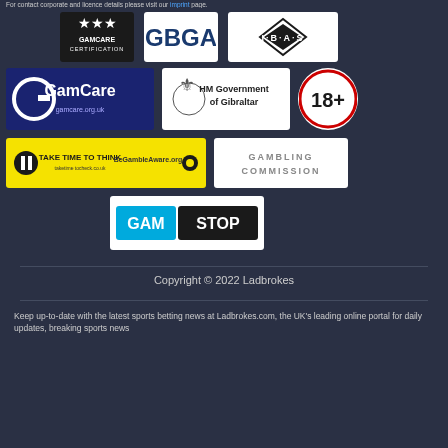For contact corporate and licence details please visit our imprint page.
[Figure (logo): GamCare Certification logo]
[Figure (logo): GBGA logo]
[Figure (logo): IBAS logo]
[Figure (logo): GamCare large logo]
[Figure (logo): HM Government of Gibraltar logo]
[Figure (logo): 18+ age restriction logo]
[Figure (logo): Take Time To Think / Be Gamble Aware logo]
[Figure (logo): Gambling Commission logo]
[Figure (logo): GamStop logo]
Copyright © 2022 Ladbrokes
Keep up-to-date with the latest sports betting news at Ladbrokes.com, the UK's leading online portal for daily updates, breaking sports news